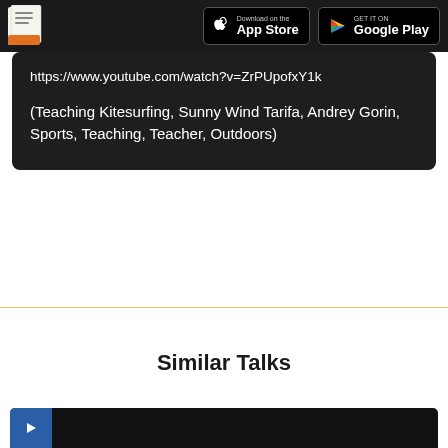Download on the App Store | GET IT ON Google Play
https://www.youtube.com/watch?v=ZrPUpofxY1k
(Teaching Kitesurfing, Sunny Wind Tarifa, Andrey Gorin, Sports, Teaching, Teacher, Outdoors)
Similar Talks
[Figure (screenshot): Bottom portion of a dark video thumbnail card]